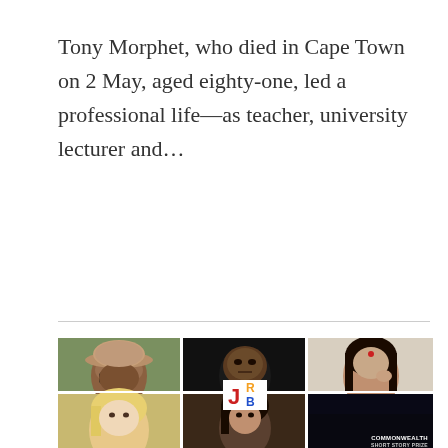Tony Morphet, who died in Cape Town on 2 May, aged eighty-one, led a professional life—as teacher, university lecturer and…
[Figure (photo): A 2×3 grid of portrait photographs showing six people: top row left is a smiling man wearing a hat and glasses; top row center is a serious-looking man in black; top row right is a woman with long dark hair. Bottom row left is a blonde woman; bottom row center is a dark-haired woman; bottom row right is a dark image with 'COMMONWEALTH SHORT STORY PRIZE' text. A JRB logo (J in red, RB in orange/blue) overlaid in the center.]